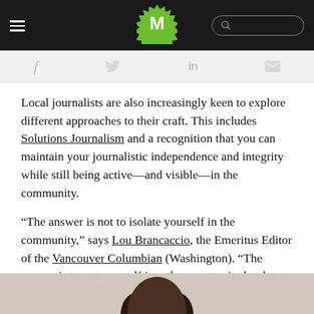M [logo] [hamburger menu] [search bar]
[Figure (infographic): Social sharing icons bar: Facebook (f), Twitter (bird), LinkedIn (in), Email (envelope)]
Local journalists are also increasingly keen to explore different approaches to their craft. This includes Solutions Journalism and a recognition that you can maintain your journalistic independence and integrity while still being active—and visible—in the community.
“The answer is not to isolate yourself in the community,” says Lou Brancaccio, the Emeritus Editor of the Vancouver Columbian (Washington). “The answer is to put yourself into the community but let people understand, and know, that if things go south for them you’re gonna write about it.”
[Figure (photo): Partial photo of a person (head/hair visible) at bottom of page]